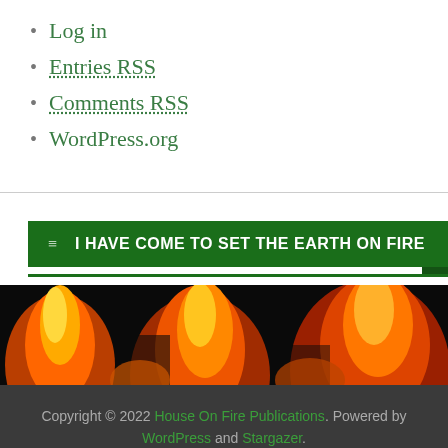Log in
Entries RSS
Comments RSS
WordPress.org
I HAVE COME TO SET THE EARTH ON FIRE
[Figure (photo): Close-up image of flames with orange, red, and black colors]
Copyright © 2022 House On Fire Publications. Powered by WordPress and Stargazer.